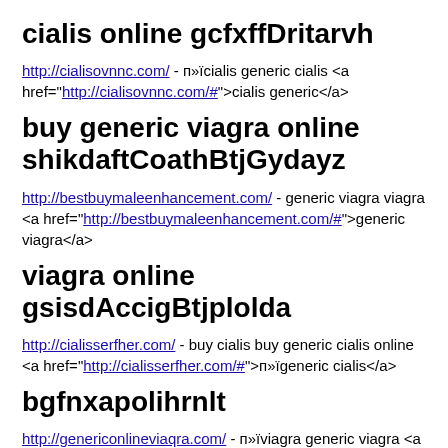cialis online gcfxffDritarvh
http://cialisovnnc.com/ - п»їcialis generic cialis <a href="http://cialisovnnc.com/#">cialis generic</a>
buy generic viagra online shikdaftCoathBtjGydayz
http://bestbuymaleenhancement.com/ - generic viagra viagra <a href="http://bestbuymaleenhancement.com/#">generic viagra</a>
viagra online gsisdAccigBtjplolda
http://cialisserfher.com/ - buy cialis buy generic cialis online <a href="http://cialisserfher.com/#">п»їgeneric cialis</a>
bgfnxapolihrnlt
http://genericonlineviaqra.com/ - п»їviagra generic viagra <a href="http://genericonlineviaqra.com/#">п»їviagra</a>